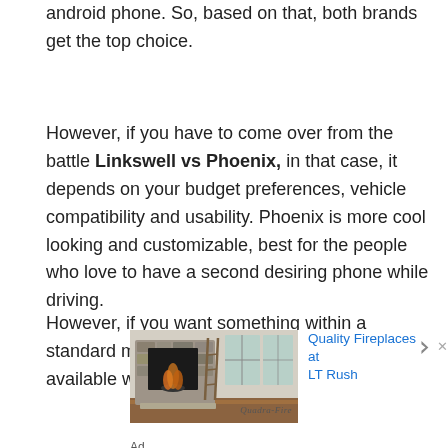android phone. So, based on that, both brands get the top choice.
However, if you have to come over from the battle Linkswell vs Phoenix, in that case, it depends on your budget preferences, vehicle compatibility and usability. Phoenix is more cool looking and customizable, best for the people who love to have a second desiring phone while driving.
However, if you want something within a standard module with the standard features available with vehicle
[Figure (photo): Advertisement showing a stone fireplace with Quadra-Fire branding, advertising Quality Fireplaces at LT Rush]
Ad